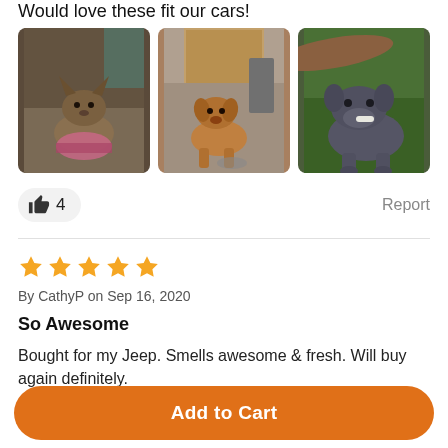Would love these fit our cars!
[Figure (photo): Three photos of dogs: a small terrier, a tan dog indoors, and a large grey/blue dog outdoors.]
👍 4   Report
[Figure (other): Five orange star rating icons]
By CathyP on Sep 16, 2020
So Awesome
Bought for my Jeep. Smells awesome & fresh. Will buy again definitely.
Add to Cart